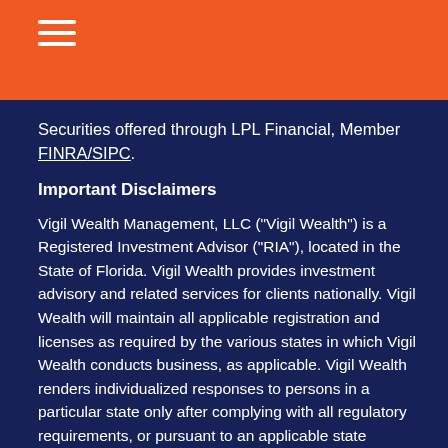[Figure (other): Orange header bar with white hamburger menu icon (three horizontal lines)]
Securities offered through LPL Financial, Member FINRA/SIPC.
Important Disclaimers
Vigil Wealth Management, LLC ("Vigil Wealth") is a Registered Investment Advisor ("RIA"), located in the State of Florida. Vigil Wealth provides investment advisory and related services for clients nationally. Vigil Wealth will maintain all applicable registration and licenses as required by the various states in which Vigil Wealth conducts business, as applicable. Vigil Wealth renders individualized responses to persons in a particular state only after complying with all regulatory requirements, or pursuant to an applicable state exemption or exclusion.